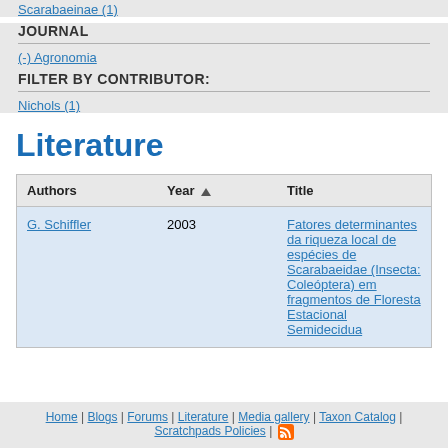Scarabaeinae (1)
JOURNAL
(-) Agronomia
FILTER BY CONTRIBUTOR:
Nichols (1)
Literature
| Authors | Year | Title |
| --- | --- | --- |
| G. Schiffler | 2003 | Fatores determinantes da riqueza local de espécies de Scarabaeidae (Insecta: Coleóptera) em fragmentos de Floresta Estacional Semidecidua |
Home | Blogs | Forums | Literature | Media gallery | Taxon Catalog | Scratchpads Policies |